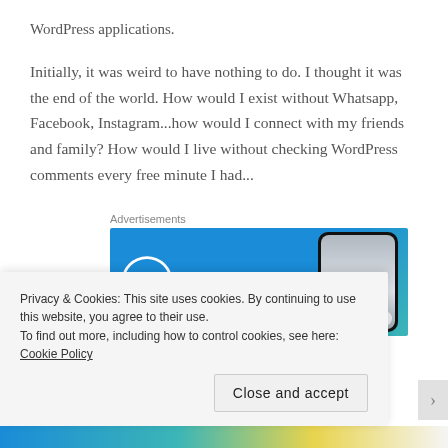WordPress applications.
Initially, it was weird to have nothing to do. I thought it was the end of the world. How would I exist without Whatsapp, Facebook, Instagram...how would I connect with my friends and family? How would I live without checking WordPress comments every free minute I had...
Advertisements
[Figure (screenshot): WordPress advertisement banner showing the WordPress logo on a blue/teal gradient background with a phone mockup on the right side.]
Privacy & Cookies: This site uses cookies. By continuing to use this website, you agree to their use.
To find out more, including how to control cookies, see here: Cookie Policy
Close and accept